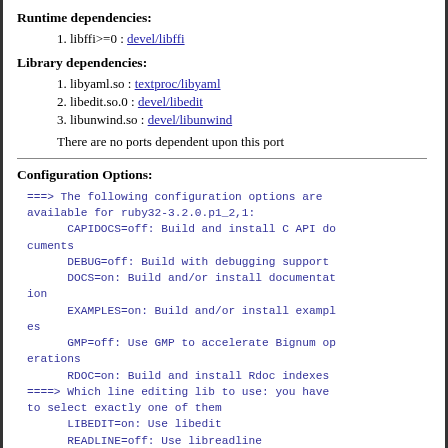Runtime dependencies:
1. libffi>=0 : devel/libffi
Library dependencies:
1. libyaml.so : textproc/libyaml
2. libedit.so.0 : devel/libedit
3. libunwind.so : devel/libunwind
There are no ports dependent upon this port
Configuration Options:
===> The following configuration options are available for ruby32-3.2.0.p1_2,1:
      CAPIDOCS=off: Build and install C API documents
      DEBUG=off: Build with debugging support
      DOCS=on: Build and/or install documentation
      EXAMPLES=on: Build and/or install examples
      GMP=off: Use GMP to accelerate Bignum operations
      RDOC=on: Build and install Rdoc indexes
====> Which line editing lib to use: you have to select exactly one of them
      LIBEDIT=on: Use libedit
      READLINE=off: Use libreadline
===> Use 'make config' to modify these settin